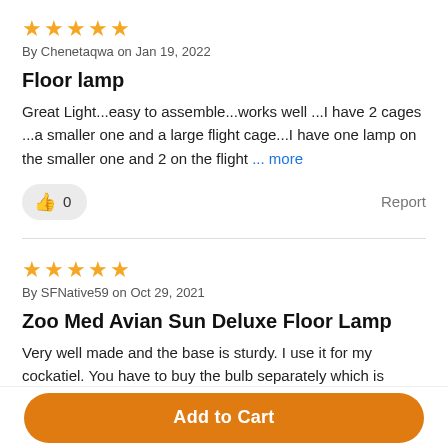★★★★★
By Chenetaqwa on Jan 19, 2022
Floor lamp
Great Light...easy to assemble...works well ...I have 2 cages ...a smaller one and a large flight cage...I have one lamp on the smaller one and 2 on the flight ... more
👍 0
Report
★★★★★
By SFNative59 on Oct 29, 2021
Zoo Med Avian Sun Deluxe Floor Lamp
Very well made and the base is sturdy. I use it for my cockatiel. You have to buy the bulb separately which is
Add to Cart